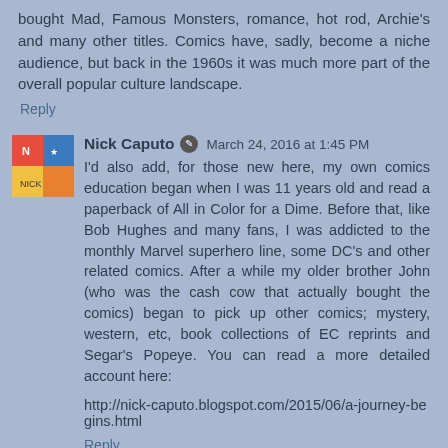bought Mad, Famous Monsters, romance, hot rod, Archie's and many other titles. Comics have, sadly, become a niche audience, but back in the 1960s it was much more part of the overall popular culture landscape.
Reply
Nick Caputo · March 24, 2016 at 1:45 PM
I'd also add, for those new here, my own comics education began when I was 11 years old and read a paperback of All in Color for a Dime. Before that, like Bob Hughes and many fans, I was addicted to the monthly Marvel superhero line, some DC's and other related comics. After a while my older brother John (who was the cash cow that actually bought the comics) began to pick up other comics; mystery, western, etc, book collections of EC reprints and Segar's Popeye. You can read a more detailed account here:
http://nick-caputo.blogspot.com/2015/06/a-journey-begins.html
Reply